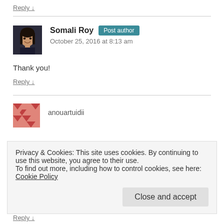Reply ↓
Somali Roy  Post author
October 25, 2016 at 8:13 am
Thank you!
Reply ↓
anouartuidii
Privacy & Cookies: This site uses cookies. By continuing to use this website, you agree to their use.
To find out more, including how to control cookies, see here: Cookie Policy
Close and accept
Reply ↓